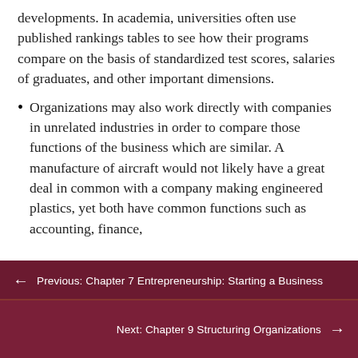developments. In academia, universities often use published rankings tables to see how their programs compare on the basis of standardized test scores, salaries of graduates, and other important dimensions.
Organizations may also work directly with companies in unrelated industries in order to compare those functions of the business which are similar. A manufacture of aircraft would not likely have a great deal in common with a company making engineered plastics, yet both have common functions such as accounting, finance,
Previous: Chapter 7 Entrepreneurship: Starting a Business
Next: Chapter 9 Structuring Organizations